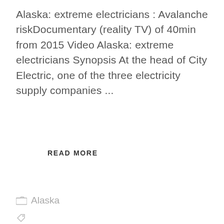Alaska: extreme electricians : Avalanche riskDocumentary (reality TV) of 40min from 2015 Video Alaska: extreme electricians Synopsis At the head of City Electric, one of the three electricity supply companies ...
READ MORE
Alaska
Alaska: Extreme Electricians S01E01 Risk of avalanches, Antony Anderson, canalsat program, Denis Séguin, Documentary, Donna Gollan, freebox program, guide tv, Nicole Solomon, on TV, Power Ice, programme orange, programme tnt, Reality show, Replay, right now tv, tonight tv, TV guide, tv night, TV